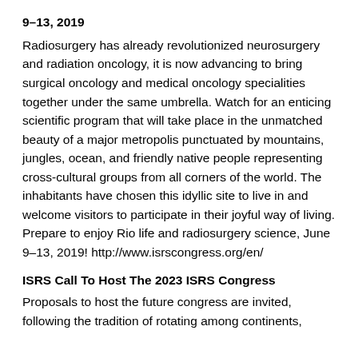9–13, 2019
Radiosurgery has already revolutionized neurosurgery and radiation oncology, it is now advancing to bring surgical oncology and medical oncology specialities together under the same umbrella. Watch for an enticing scientific program that will take place in the unmatched beauty of a major metropolis punctuated by mountains, jungles, ocean, and friendly native people representing cross-cultural groups from all corners of the world. The inhabitants have chosen this idyllic site to live in and welcome visitors to participate in their joyful way of living. Prepare to enjoy Rio life and radiosurgery science, June 9–13, 2019! http://www.isrscongress.org/en/
ISRS Call To Host The 2023 ISRS Congress
Proposals to host the future congress are invited, following the tradition of rotating among continents,